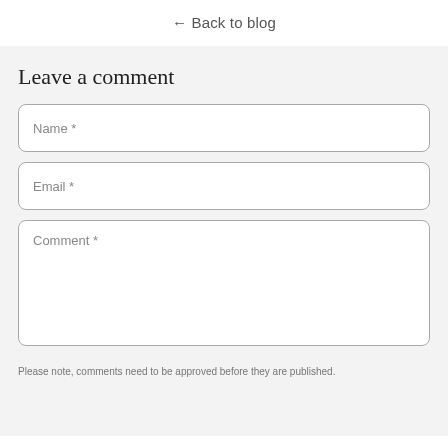← Back to blog
Leave a comment
Name *
Email *
Comment *
Please note, comments need to be approved before they are published.